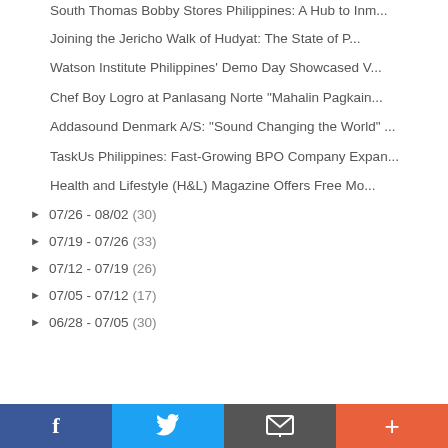South Thomas Bobby Stores Philippines: A Hub to Inm...
Joining the Jericho Walk of Hudyat: The State of P...
Watson Institute Philippines' Demo Day Showcased V...
Chef Boy Logro at Panlasang Norte "Mahalin Pagkain...
Addasound Denmark A/S: "Sound Changing the World" ...
TaskUs Philippines: Fast-Growing BPO Company Expan...
Health and Lifestyle (H&L) Magazine Offers Free Mo...
► 07/26 - 08/02 (30)
► 07/19 - 07/26 (33)
► 07/12 - 07/19 (26)
► 07/05 - 07/12 (17)
► 06/28 - 07/05 (30)